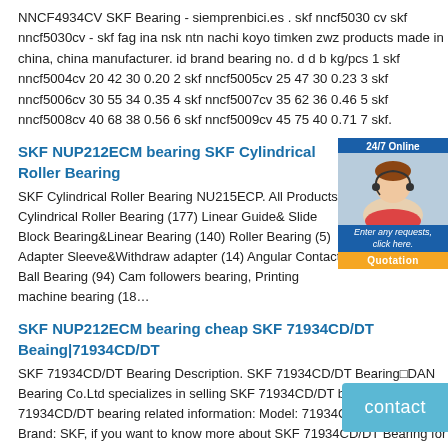NNCF4934CV SKF Bearing - siemprenbici.es . skf nncf5030 cv skf nncf5030cv - skf fag ina nsk ntn nachi koyo timken zwz products made in china, china manufacturer. id brand bearing no. d d b kg/pcs 1 skf nncf5004cv 20 42 30 0.20 2 skf nncf5005cv 25 47 30 0.23 3 skf nncf5006cv 30 55 34 0.35 4 skf nncf5007cv 35 62 36 0.46 5 skf nncf5008cv 40 68 38 0.56 6 skf nncf5009cv 45 75 40 0.71 7 skf.
SKF NUP212ECM bearing SKF Cylindrical Roller Bearing
SKF Cylindrical Roller Bearing NU215ECP. All Products. Cylindrical Roller Bearing (177) Linear Guide& Slide Block Bearing&Linear Bearing (140) Roller Bearing (5) Adapter Sleeve&Withdraw adapter (14) Angular Contact Ball Bearing (94) Cam followers bearing, Printing machine bearing (18…
SKF NUP212ECM bearing cheap SKF 71934CD/DT Beaing|71934CD/DT
SKF 71934CD/DT Bearing Description. SKF 71934CD/DT Bearing□DAN Bearing Co.Ltd specializes in selling SKF 71934CD/DT bearings, SKF 71934CD/DT bearing related information: Model: 71934CD/DT Bearing; Brand: SKF, if you want to know more about SKF 71934CD/DT Bearing for information, you can do online consultation or call the hotline and email us [email protected], we will serve you in detail.
SKF NUP212ECM bearing SKF NUP217ECM Quebec | SKF Bearing Also Plz his SKF…